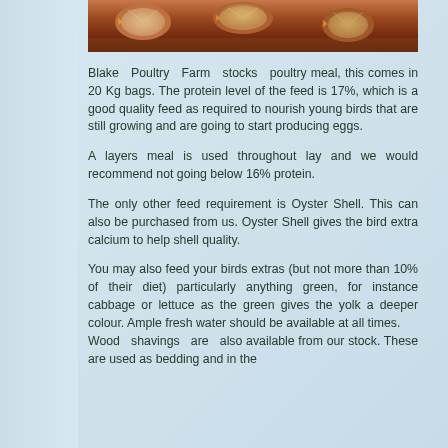[Figure (photo): Close-up photograph of poultry/chickens, showing feathers and bird bodies from above]
Blake Poultry Farm stocks poultry meal, this comes in 20 Kg bags. The protein level of the feed is 17%, which is a good quality feed as required to nourish young birds that are still growing and are going to start producing eggs.
A layers meal is used throughout lay and we would recommend not going below 16% protein.
The only other feed requirement is Oyster Shell. This can also be purchased from us. Oyster Shell gives the bird extra calcium to help shell quality.
You may also feed your birds extras (but not more than 10% of their diet) particularly anything green, for instance cabbage or lettuce as the green gives the yolk a deeper colour. Ample fresh water should be available at all times.
Wood shavings are also available from our stock. These are used as bedding and in the